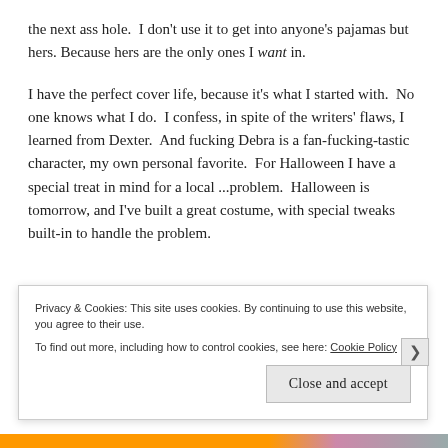the next ass hole.  I don't use it to get into anyone's pajamas but hers. Because hers are the only ones I want in.
I have the perfect cover life, because it's what I started with.  No one knows what I do.  I confess, in spite of the writers' flaws, I learned from Dexter.  And fucking Debra is a fan-fucking-tastic character, my own personal favorite.  For Halloween I have a special treat in mind for a local ...problem.  Halloween is tomorrow, and I've built a great costume, with special tweaks built-in to handle the problem.
Privacy & Cookies: This site uses cookies. By continuing to use this website, you agree to their use.
To find out more, including how to control cookies, see here: Cookie Policy